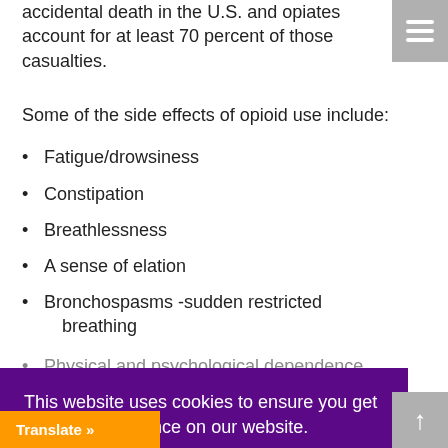accidental death in the U.S. and opiates account for at least 70 percent of those casualties.
Some of the side effects of opioid use include:
Fatigue/drowsiness
Constipation
Breathlessness
A sense of elation
Bronchospasms -sudden restricted breathing
Physical and psychological dependence
This website uses cookies to ensure you get the best experience on our website.
Learn more
Got it!
Translate »